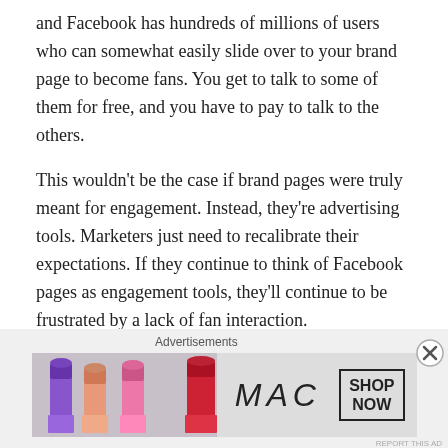and Facebook has hundreds of millions of users who can somewhat easily slide over to your brand page to become fans. You get to talk to some of them for free, and you have to pay to talk to the others.
This wouldn't be the case if brand pages were truly meant for engagement. Instead, they're advertising tools. Marketers just need to recalibrate their expectations. If they continue to think of Facebook pages as engagement tools, they'll continue to be frustrated by a lack of fan interaction.
5. Look at how many people ignore us!
[Figure (other): Advertisement banner for MAC cosmetics showing lipsticks and SHOP NOW button, with an Advertisements label above and a close (X) button]